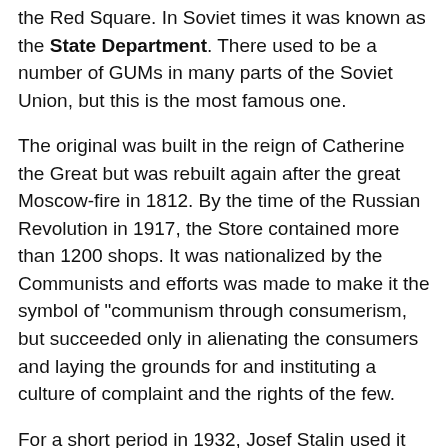the Red Square. In Soviet times it was known as the State Department. There used to be a number of GUMs in many parts of the Soviet Union, but this is the most famous one.
The original was built in the reign of Catherine the Great but was rebuilt again after the great Moscow-fire in 1812. By the time of the Russian Revolution in 1917, the Store contained more than 1200 shops. It was nationalized by the Communists and efforts was made to make it the symbol of "communism through consumerism, but succeeded only in alienating the consumers and laying the grounds for and instituting a culture of complaint and the rights of the few.
For a short period in 1932, Josef Stalin used it as a mausoleum for his wife Nadezhda Alliluyeva, who shot herself after a dinnerparty in the Kremlin.
The GUM was reopened as a department store during 1953 and became one of the few stores in the Soviet Union that did not have shortages of consumergoods. The queues of shoppers were sometimes long, often extending all across